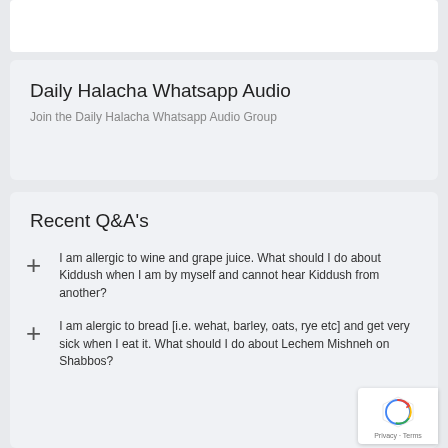Daily Halacha Whatsapp Audio
Join the Daily Halacha Whatsapp Audio Group
Recent Q&A's
I am allergic to wine and grape juice. What should I do about Kiddush when I am by myself and cannot hear Kiddush from another?
I am alergic to bread [i.e. wehat, barley, oats, rye etc] and get very sick when I eat it. What should I do about Lechem Mishneh on Shabbos?